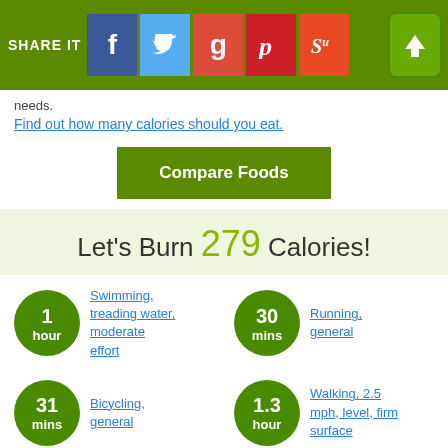SHARE IT [Facebook] [Twitter] [Google+] [Pinterest] [StumbleUpon] [Upload]
needs.
Find out how many calories should you eat.
Compare Foods
Let's Burn 279 Calories!
1 hour — Swimming, treading water, moderate effort
30 mins — Running, general
31 mins — Bicycling, general
1.3 hour — Walking, 2.5 mph, level, firm surface
You Might Also Like